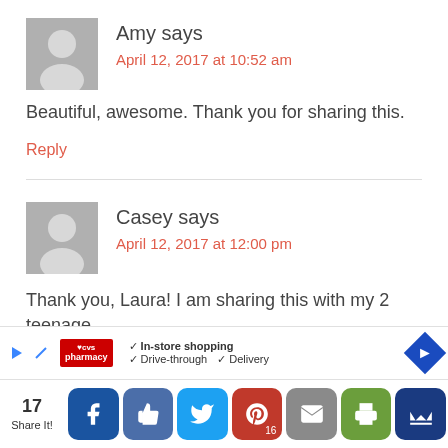Amy says
April 12, 2017 at 10:52 am
Beautiful, awesome. Thank you for sharing this.
Reply
Casey says
April 12, 2017 at 12:00 pm
Thank you, Laura! I am sharing this with my 2 teenage daugh...
[Figure (infographic): Advertisement bar: CVS Pharmacy logo with checkmarks for In-store shopping, Drive-through, and Delivery]
[Figure (infographic): Social share bar with 17 shares: Facebook, Like, Twitter, Pinterest (16), Email, Print, Crown buttons]